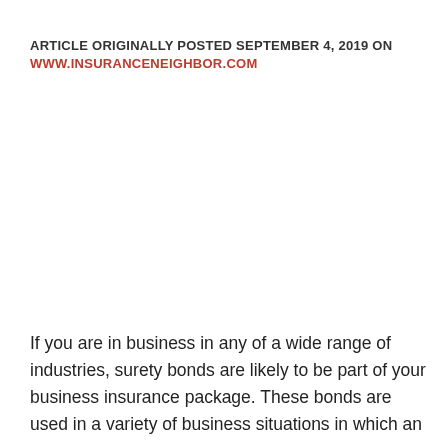ARTICLE ORIGINALLY POSTED SEPTEMBER 4, 2019 ON WWW.INSURANCENEIGHBOR.COM
If you are in business in any of a wide range of industries, surety bonds are likely to be part of your business insurance package. These bonds are used in a variety of business situations in which an